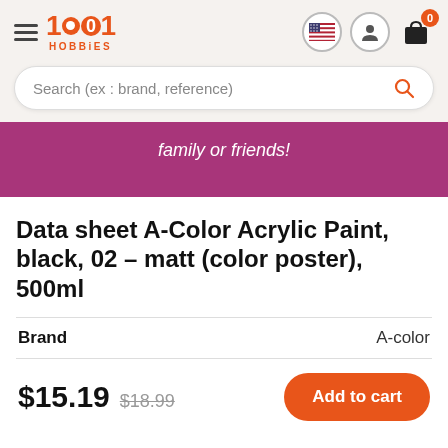1001 HOBBIES
Search (ex : brand, reference)
family or friends!
Data sheet A-Color Acrylic Paint, black, 02 – matt (color poster), 500ml
| Brand |  |
| --- | --- |
| Brand | A-color |
$15.19  $18.99  Add to cart